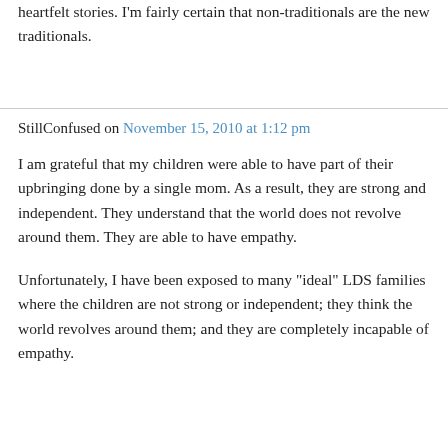heartfelt stories. I'm fairly certain that non-traditionals are the new traditionals.
StillConfused on November 15, 2010 at 1:12 pm
I am grateful that my children were able to have part of their upbringing done by a single mom. As a result, they are strong and independent. They understand that the world does not revolve around them. They are able to have empathy.
Unfortunately, I have been exposed to many “ideal” LDS families where the children are not strong or independent; they think the world revolves around them; and they are completely incapable of empathy.